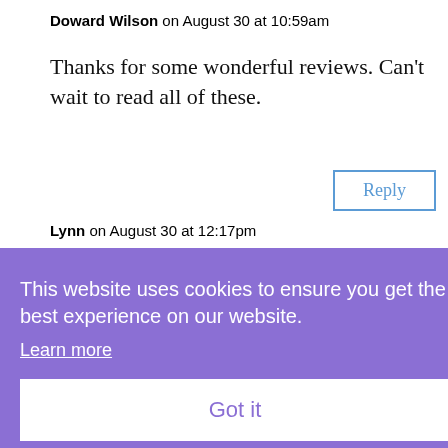Doward Wilson on August 30 at 10:59am
Thanks for some wonderful reviews. Can't wait to read all of these.
Reply
Lynn on August 30 at 12:17pm
This website uses cookies to ensure you get the best experience on our website.
Learn more
Got it
What a great selection of books from a great